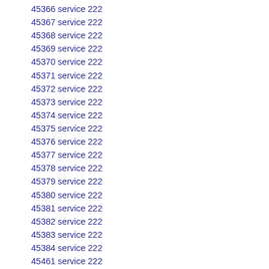45366 service 222
45367 service 222
45368 service 222
45369 service 222
45370 service 222
45371 service 222
45372 service 222
45373 service 222
45374 service 222
45375 service 222
45376 service 222
45377 service 222
45378 service 222
45379 service 222
45380 service 222
45381 service 222
45382 service 222
45383 service 222
45384 service 222
45461 service 222
45462 service 222
45463 service 222
45464 service 222
45465 service 222
45466 service 222
45467 service 222
45468 service 222
45469 service 222